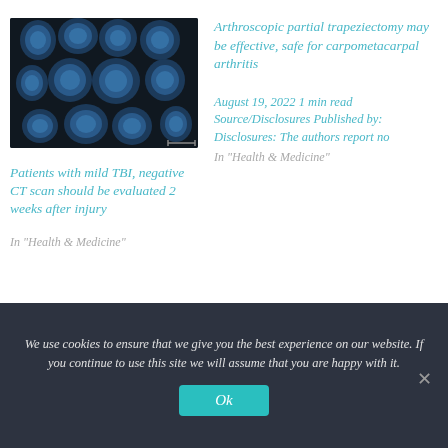[Figure (photo): Medical brain CT scan images showing multiple axial slices in blue-tinted grayscale on dark background]
Patients with mild TBI, negative CT scan should be evaluated 2 weeks after injury
In "Health & Medicine"
Arthroscopic partial trapeziectomy may be effective, safe for carpometacarpal arthritis
August 19, 2022 1 min read Source/Disclosures Published by: Disclosures: The authors report no
In "Health & Medicine"
We use cookies to ensure that we give you the best experience on our website. If you continue to use this site we will assume that you are happy with it.